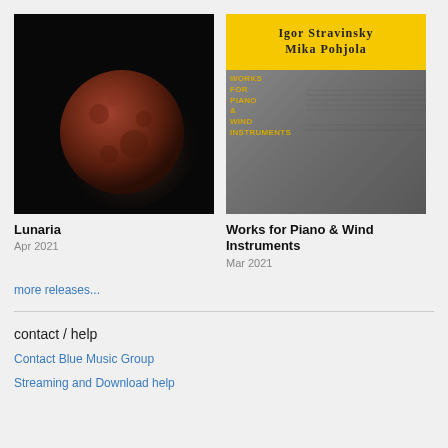[Figure (photo): Album cover for Lunaria by Ensemble Ma — blood moon on black background with text 'Ensemble Ma' and 'Lunaria' in top left]
Lunaria
Apr 2021
[Figure (photo): Album cover for Works for Piano & Wind Instruments — yellow header bar with 'Igor Stravinsky / Mika Pohjola', photo of man with glasses in black sweater in front of piano keys, text 'Works for Piano & Wind Instruments' on left]
Works for Piano & Wind Instruments
Mar 2021
more releases...
contact / help
Contact Blue Music Group
Streaming and Download help